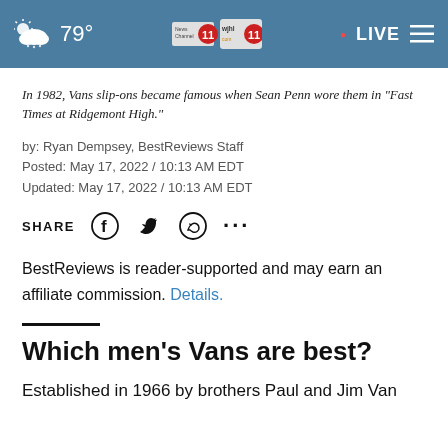79° | News Channel 11 | wjhl.com 11 | LIVE
In 1982, Vans slip-ons became famous when Sean Penn wore them in "Fast Times at Ridgemont High."
by: Ryan Dempsey, BestReviews Staff
Posted: May 17, 2022 / 10:13 AM EDT
Updated: May 17, 2022 / 10:13 AM EDT
SHARE [Facebook] [Twitter] [WhatsApp] [...]
BestReviews is reader-supported and may earn an affiliate commission. Details.
Which men's Vans are best?
Established in 1966 by brothers Paul and Jim Van